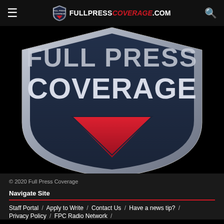FULLPRESS COVERAGE.COM (navigation bar with hamburger menu, logo, and search icon)
[Figure (logo): Full Press Coverage shield logo showing 'FULL PRESS COVERAGE' text in white/grey on dark navy shield with red chevron at bottom, cropped view on black background]
© 2020 Full Press Coverage
Navigate Site
Staff Portal  /  Apply to Write  /  Contact Us  /  Have a news tip?  /
Privacy Policy  /  FPC Radio Network  /